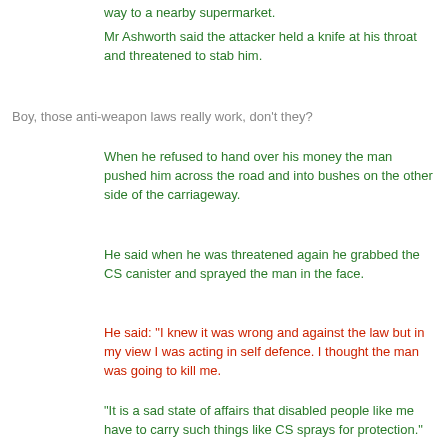way to a nearby supermarket.
Mr Ashworth said the attacker held a knife at his throat and threatened to stab him.
Boy, those anti-weapon laws really work, don't they?
When he refused to hand over his money the man pushed him across the road and into bushes on the other side of the carriageway.
He said when he was threatened again he grabbed the CS canister and sprayed the man in the face.
He said: "I knew it was wrong and against the law but in my view I was acting in self defence. I thought the man was going to kill me.
"It is a sad state of affairs that disabled people like me have to carry such things like CS sprays for protection."